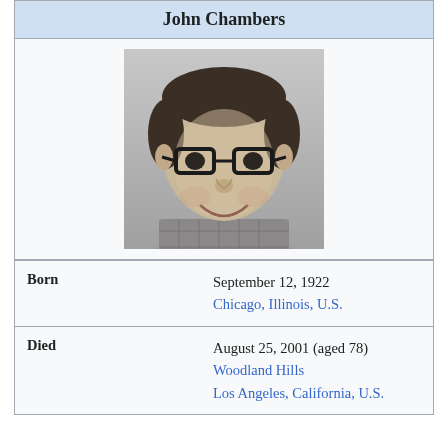John Chambers
[Figure (photo): Black and white portrait photo of John Chambers, a heavyset middle-aged man wearing thick-framed glasses and a plaid shirt, smiling at the camera]
| Born | September 12, 1922
Chicago, Illinois, U.S. |
| Died | August 25, 2001 (aged 78)
Woodland Hills
Los Angeles, California, U.S. |